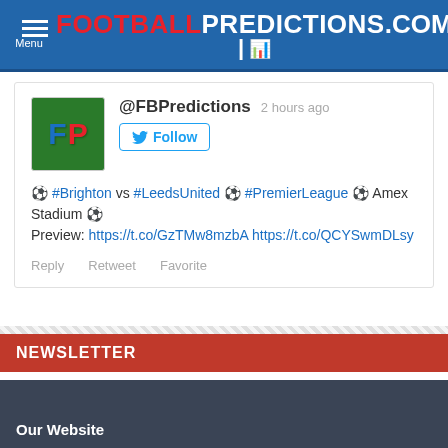FOOTBALLPREDICTIONS.COM
[Figure (screenshot): Tweet from @FBPredictions posted 2 hours ago. Contains Follow button, tweet text about Brighton vs LeedsUnited PremierLeague at Amex Stadium with preview links, and Reply/Retweet/Favorite actions.]
NEWSLETTER
Get our latest football predictions in your mailbox!